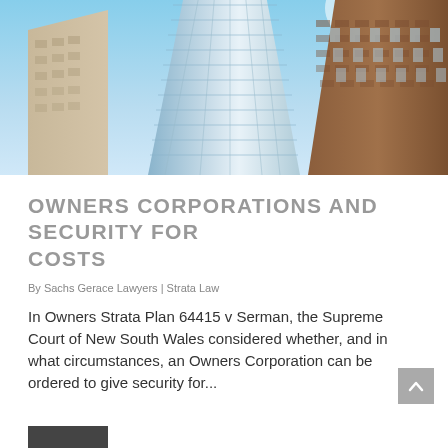[Figure (photo): Upward-angle fisheye photograph of several tall city skyscrapers against a bright blue sky, including a modern glass-and-steel building and an older brick-facade building]
OWNERS CORPORATIONS AND SECURITY FOR COSTS
By Sachs Gerace Lawyers | Strata Law
In Owners Strata Plan 64415 v Serman, the Supreme Court of New South Wales considered whether, and in what circumstances, an Owners Corporation can be ordered to give security for...